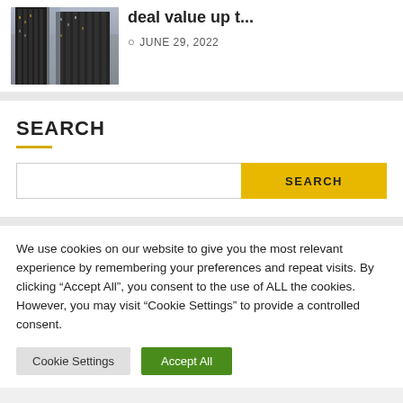[Figure (photo): Tall city skyscraper building viewed from below against sky]
deal value up t…
JUNE 29, 2022
SEARCH
SEARCH
We use cookies on our website to give you the most relevant experience by remembering your preferences and repeat visits. By clicking “Accept All”, you consent to the use of ALL the cookies. However, you may visit “Cookie Settings” to provide a controlled consent.
Cookie Settings
Accept All